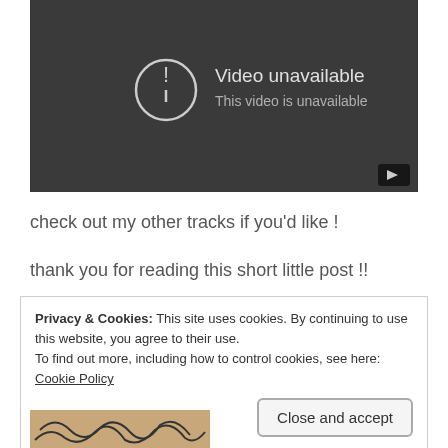[Figure (screenshot): YouTube video player showing 'Video unavailable' error message with an exclamation mark icon in a circle, subtitle 'This video is unavailable', and a YouTube play button badge in the bottom right corner. Dark gray background.]
check out my other tracks if you'd like !
thank you for reading this short little post !!
Privacy & Cookies: This site uses cookies. By continuing to use this website, you agree to their use.
To find out more, including how to control cookies, see here: Cookie Policy
Close and accept
[Figure (illustration): Bottom portion of a decorative illustration showing dark squiggly lines on a tan/brown background, partially visible.]